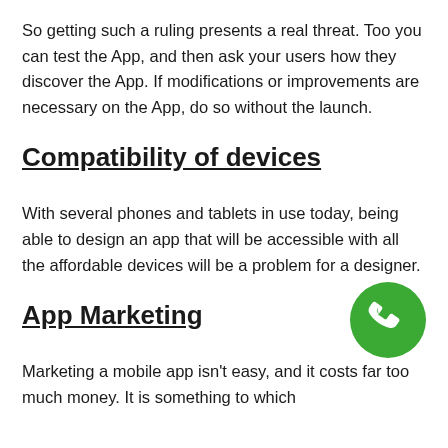So getting such a ruling presents a real threat. Too you can test the App, and then ask your users how they discover the App. If modifications or improvements are necessary on the App, do so without the launch.
Compatibility of devices
With several phones and tablets in use today, being able to design an app that will be accessible with all the affordable devices will be a problem for a designer.
[Figure (illustration): Green circular phone/call button icon]
App Marketing
Marketing a mobile app isn't easy, and it costs far too much money. It is something to which